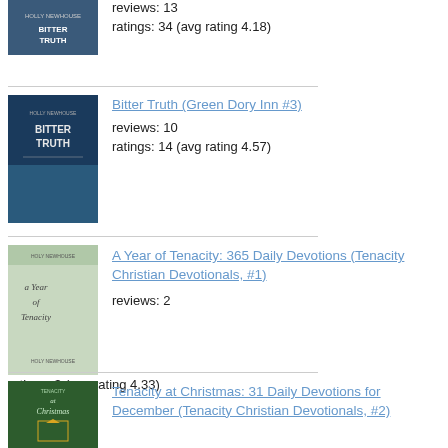reviews: 13
ratings: 34 (avg rating 4.18)
Bitter Truth (Green Dory Inn #3)
reviews: 10
ratings: 14 (avg rating 4.57)
A Year of Tenacity: 365 Daily Devotions (Tenacity Christian Devotionals, #1)
reviews: 2
ratings: 3 (avg rating 4.33)
Tenacity at Christmas: 31 Daily Devotions for December (Tenacity Christian Devotionals, #2)
ratings: 1 (avg rating 5.00)